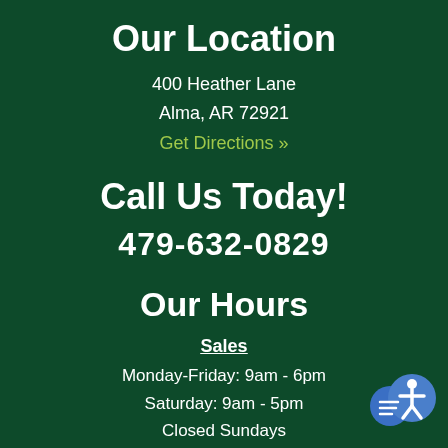Our Location
400 Heather Lane
Alma, AR 72921
Get Directions »
Call Us Today!
479-632-0829
Our Hours
Sales
Monday-Friday: 9am - 6pm
Saturday: 9am - 5pm
Closed Sundays
Parts & Service